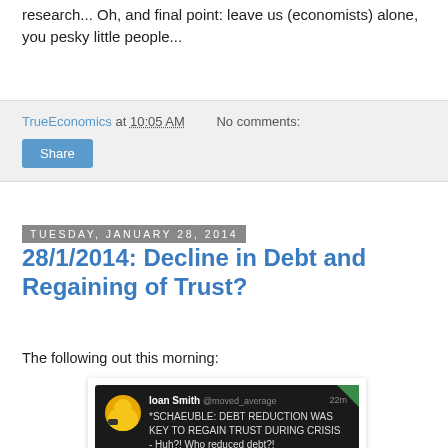research... Oh, and final point: leave us (economists) alone, you pesky little people...
TrueEconomics at 10:05 AM   No comments:
Share
Tuesday, January 28, 2014
28/1/2014: Decline in Debt and Regaining of Trust?
The following out this morning:
[Figure (screenshot): Screenshot of a tweet from loan Smith (@moved_average) posted 22m ago: '*SCHAEUBLE: DEBT REDUCTION WAS KEY TO REGAIN TRUST DURING CRISIS - Huh?! Who reduced debt?!' with a Details link. Dark background tweet card with a Minion avatar.]